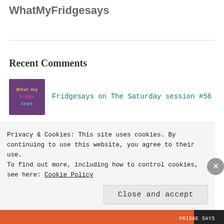WhatMyFridgesays
Recent Comments
Fridgesays on The Saturday session #56
Fridgesays on The Saturday session #56
Seamus on A candle loses nothing by ligh…
Privacy & Cookies: This site uses cookies. By continuing to use this website, you agree to their use. To find out more, including how to control cookies, see here: Cookie Policy
Close and accept